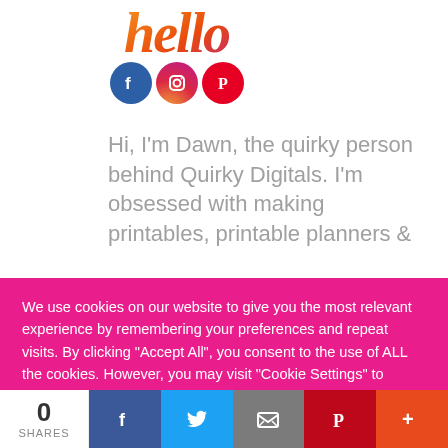[Figure (logo): Stylized cursive orange/pink logo text at top of page, partially cropped]
[Figure (infographic): Row of three circular social media icons: Facebook (blue), Instagram (gradient), Pinterest (red)]
Hi, I'm Dawn, the quirky person behind Quirky Digitals. I'm obsessed with making printables, printable planners & digital...
We use cookies on our website to give you the most relevant experience by remembering your preferences and repeat visits. By clicking "Accept All", you consent to the use of ALL the cookies. However, you may visit "Cookie Settings" to provide a controlled consent.
[Figure (infographic): Bottom share bar with share count 0 SHARES and social buttons: Facebook, Twitter, Email, Pinterest, More]